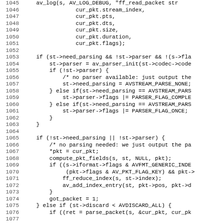[Figure (other): Source code listing (C language), lines 1045-1076, showing FFmpeg demuxer code including av_log, packet fields, parser initialization, and index entry logic.]